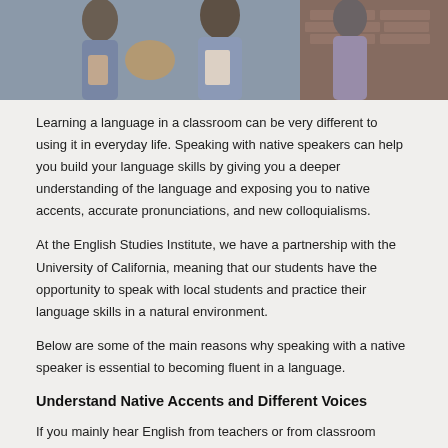[Figure (photo): Photo of students or people holding books/materials, appearing to be in a social or campus setting with brick wall in background]
Learning a language in a classroom can be very different to using it in everyday life. Speaking with native speakers can help you build your language skills by giving you a deeper understanding of the language and exposing you to native accents, accurate pronunciations, and new colloquialisms.
At the English Studies Institute, we have a partnership with the University of California, meaning that our students have the opportunity to speak with local students and practice their language skills in a natural environment.
Below are some of the main reasons why speaking with a native speaker is essential to becoming fluent in a language.
Understand Native Accents and Different Voices
If you mainly hear English from teachers or from classroom materials like recordings and videos, it can take some time to adjust to new voices and understand what is being said in a real world environment.